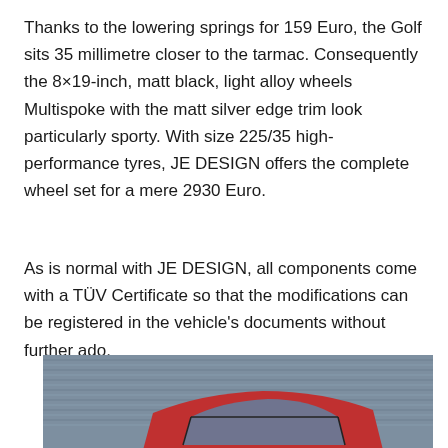Thanks to the lowering springs for 159 Euro, the Golf sits 35 millimetre closer to the tarmac. Consequently the 8×19-inch, matt black, light alloy wheels Multispoke with the matt silver edge trim look particularly sporty. With size 225/35 high-performance tyres, JE DESIGN offers the complete wheel set for a mere 2930 Euro.
As is normal with JE DESIGN, all components come with a TÜV Certificate so that the modifications can be registered in the vehicle's documents without further ado.
[Figure (photo): Partial rear view of a red car (Golf) parked in front of a grey corrugated metal wall/shutter]